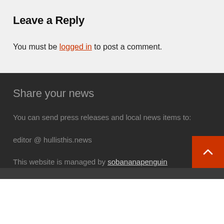Leave a Reply
You must be logged in to post a comment.
Share your news
You can send press releases and local news items to:
editor @ hullisthis.news
This website is managed by sobananapenguin